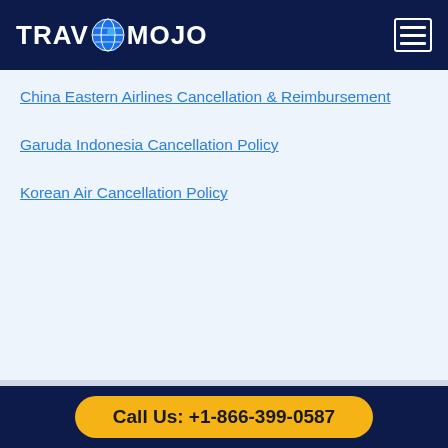TRAVOMOJO
China Eastern Airlines Cancellation & Reimbursement
Garuda Indonesia Cancellation Policy
Korean Air Cancellation Policy
Book a ticket with Travomojo
Call Us: +1-866-399-0587